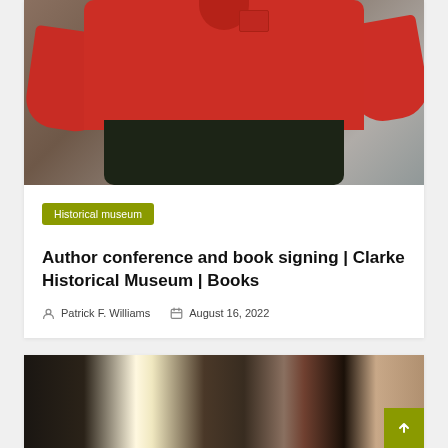[Figure (photo): Person wearing a red long-sleeve shirt with hands in pockets, standing against a wall, photographed from chest down]
Historical museum
Author conference and book signing | Clarke Historical Museum | Books
Patrick F. Williams   August 16, 2022
[Figure (photo): Person looking at a display or document at what appears to be a museum exhibit, partially visible from behind]